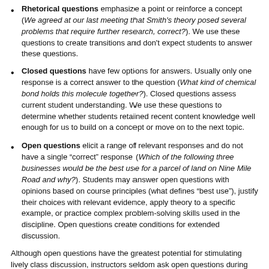Rhetorical questions emphasize a point or reinforce a concept (We agreed at our last meeting that Smith's theory posed several problems that require further research, correct?). We use these questions to create transitions and don't expect students to answer these questions.
Closed questions have few options for answers. Usually only one response is a correct answer to the question (What kind of chemical bond holds this molecule together?). Closed questions assess current student understanding. We use these questions to determine whether students retained recent content knowledge well enough for us to build on a concept or move on to the next topic.
Open questions elicit a range of relevant responses and do not have a single "correct" response (Which of the following three businesses would be the best use for a parcel of land on Nine Mile Road and why?). Students may answer open questions with opinions based on course principles (what defines "best use"), justify their choices with relevant evidence, apply theory to a specific example, or practice complex problem-solving skills used in the discipline. Open questions create conditions for extended discussion.
Although open questions have the greatest potential for stimulating lively class discussion, instructors seldom ask open questions during class. Ewing and Whittington (2007) found that only 13.4% of the questions instructors asked were open questions. Nearly half the questions instructors asked were managerial or